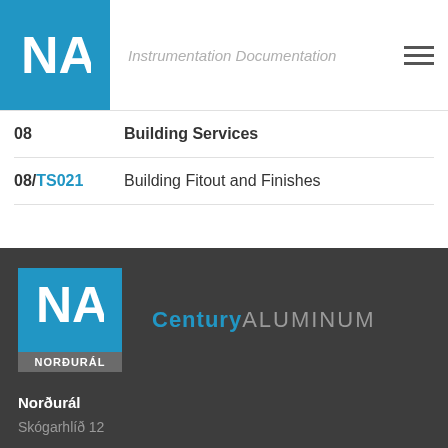Instrumentation Documentation
| Code | Description |
| --- | --- |
| 08 | Building Services |
| 08/TS021 | Building Fitout and Finishes |
[Figure (logo): Norðurál (NA) logo with Century Aluminum text in footer]
Norðurál
Skógarhlíð 12